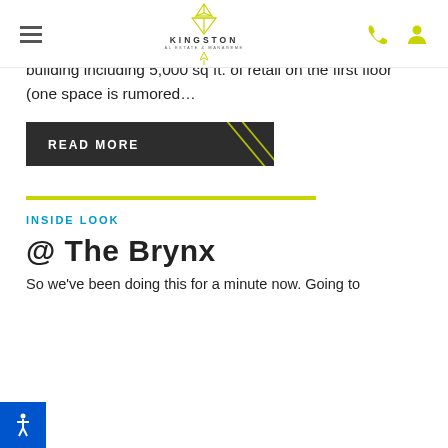Kingston Real Estate & Management — navigation header
parking spaces around the lot. How's that for density AND destiny? Along with the parking comes 82,000+ sq. ft. building including 5,000 sq ft. of retail on the first floor (one space is rumored...
[Figure (other): READ MORE dark button with diagonal gold stripe lines]
INSIDE LOOK
@ The Brynx
So we've been doing this for a minute now. Going to